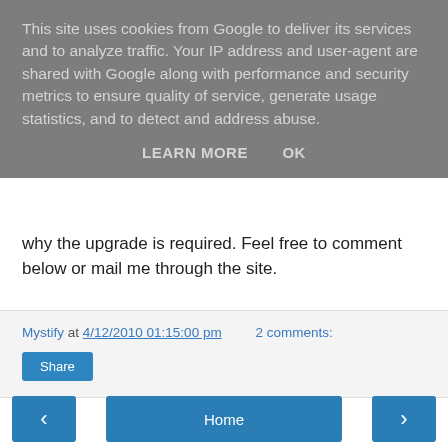This site uses cookies from Google to deliver its services and to analyze traffic. Your IP address and user-agent are shared with Google along with performance and security metrics to ensure quality of service, generate usage statistics, and to detect and address abuse.
LEARN MORE   OK
why the upgrade is required. Feel free to comment below or mail me through the site.
Mystify at 4/12/2010 01:15:00 pm   2 comments:
Share
‹   Home   ›
View web version
Powered by Blogger.